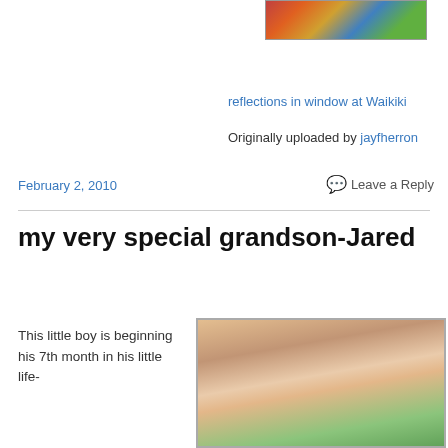[Figure (photo): Partial image of reflections in window at Waikiki, cropped at top]
reflections in window at Waikiki
Originally uploaded by jayfherron
February 2, 2010
Leave a Reply
my very special grandson-Jared
This little boy is beginning his 7th month in his little life-
[Figure (photo): Photo of baby Jared lying down, partially visible]